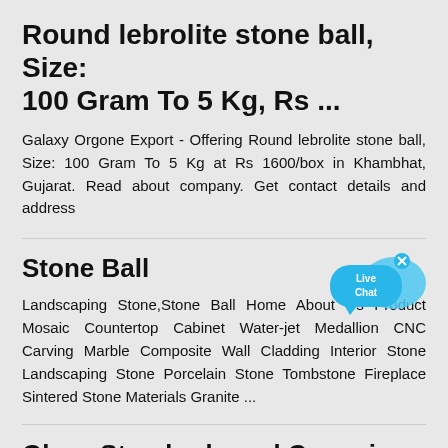Round lebrolite stone ball, Size: 100 Gram To 5 Kg, Rs ...
Galaxy Orgone Export - Offering Round lebrolite stone ball, Size: 100 Gram To 5 Kg at Rs 1600/box in Khambhat, Gujarat. Read about company. Get contact details and address
Stone Ball
[Figure (illustration): Live Chat speech bubble icon in blue with 'x' close button]
Landscaping Stone,Stone Ball Home About Us Product Mosaic Countertop Cabinet Water-jet Medallion CNC Carving Marble Composite Wall Cladding Interior Stone Landscaping Stone Porcelain Stone Tombstone Fireplace Sintered Stone Materials Granite ...
Glass Standards and Ceramic Standards
Glass Standards and Ceramic Standards. ASTM"s glass and ceramic standards are instrumental in specifying, testing, and evaluating the chemical, physical, and mechanical properties...